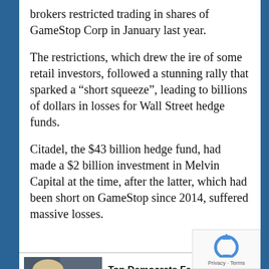brokers restricted trading in shares of GameStop Corp in January last year.
The restrictions, which drew the ire of some retail investors, followed a stunning rally that sparked a “short squeeze”, leading to billions of dollars in losses for Wall Street hedge funds.
Citadel, the $43 billion hedge fund, had made a $2 billion investment in Melvin Capital at the time, after the latter, which had been short on GameStop since 2014, suffered massive losses.
[Figure (screenshot): Promoted ad: Top Democrats Fear This Video Getting Out — Watch Now Before It's Banned, with thumbnail of a woman speaking]
[Figure (screenshot): Promoted ad: Biden Probably Wants This Video Destroyed — US Dollar On Path Towards Replacement?, with thumbnail of group of people]